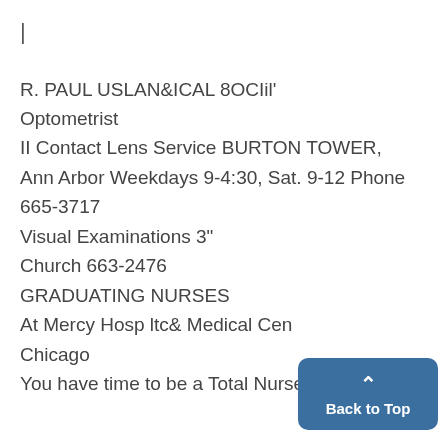|
R. PAUL USLAN&ICAL 8OCIil'
Optometrist
II Contact Lens Service BURTON TOWER, Ann Arbor Weekdays 9-4:30, Sat. 9-12 Phone 665-3717
Visual Examinations 3"
Church 663-2476
GRADUATING NURSES
At Mercy Hosp ltc& Medical Center Chicago
You have time to be a Total Nurse